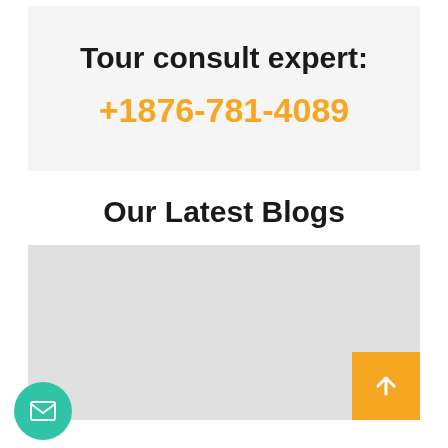Tour consult expert:
+1876-781-4089
Our Latest Blogs
[Figure (photo): Light gray placeholder blog image area with an orange scroll-to-top button in the bottom right corner and a green circular email button in the bottom left corner.]